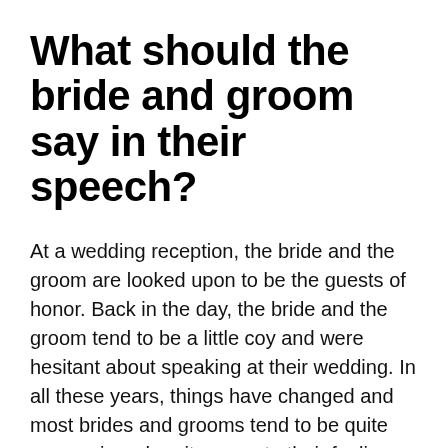What should the bride and groom say in their speech?
At a wedding reception, the bride and the groom are looked upon to be the guests of honor. Back in the day, the bride and the groom tend to be a little coy and were hesitant about speaking at their wedding. In all these years, things have changed and most brides and grooms tend to be quite expressive when it comes to their feelings.
The bride and the groom could start the